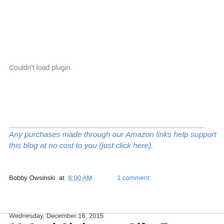[Figure (other): Plugin placeholder area showing 'Couldn't load plugin.' text in gray]
Any purchases made through our Amazon links help support this blog at no cost to you (just click here).
Bobby Owsinski at 6:00 AM   1 comment:
Share
Wednesday, December 16, 2015
11 Cool Christmas Gifts For Musicians